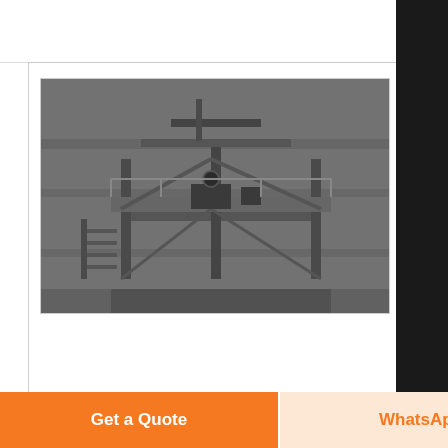[Figure (photo): Industrial grinding machine / FLEXA series equipment installed at a concrete structure, steel framework and stairs visible, industrial setting]
FLEXA - Grinding machine: JUNKER Group
The versatile grinding machines of the FLEXA series are ideal for the flexible processing of different grinding
Get a Quote
WhatsApp